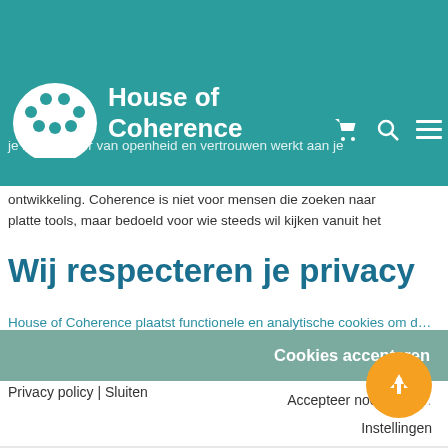complex zijn, er veel mensen bij betrokken zijn en er diverse belangen spelen.
[Figure (logo): House of Coherence logo with white icon and text on teal background, plus cart, search and menu icons]
je in een sfeer van openheid en vertrouwen werkt aan je ontwikkeling. Coherence is niet voor mensen die zoeken naar platte tools, maar bedoeld voor wie steeds wil kijken vanuit het
Wij respecteren je privacy
House of Coherence plaatst functionele en analytische cookies om de website goed te laten functioneren.
Privacy policy | Sluiten
Cookies accepteren
Accepteer noo… coo…
Instellingen